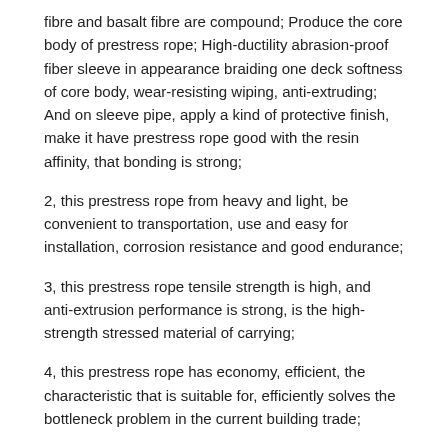fibre and basalt fibre are compound; Produce the core body of prestress rope; High-ductility abrasion-proof fiber sleeve in appearance braiding one deck softness of core body, wear-resisting wiping, anti-extruding; And on sleeve pipe, apply a kind of protective finish, make it have prestress rope good with the resin affinity, that bonding is strong;
2, this prestress rope from heavy and light, be convenient to transportation, use and easy for installation, corrosion resistance and good endurance;
3, this prestress rope tensile strength is high, and anti-extrusion performance is strong, is the high-strength stressed material of carrying;
4, this prestress rope has economy, efficient, the characteristic that is suitable for, efficiently solves the bottleneck problem in the current building trade;
5, this prestress rope is compared with other prestressed material, and its price has the remarkable economy advantage under the equal strength condition, and cost will hang down about 20%;